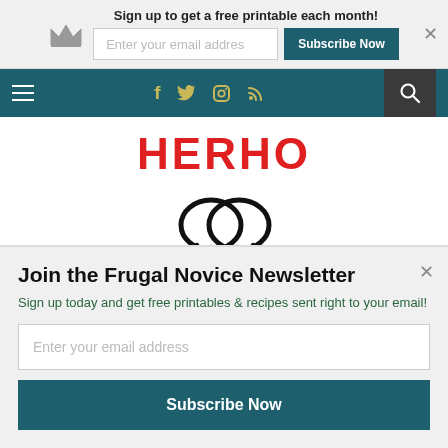Sign up to get a free printable each month!
Enter your email addres
Subscribe Now
[Figure (screenshot): Navigation bar with hamburger menu, social icons (Facebook, Twitter, Instagram, RSS), and search icon on dark teal background]
[Figure (logo): Partial red circular text logo showing letters HERHO (cropped)]
[Figure (logo): Find Your Influence logo with two overlapping speech bubble icons and bold text FIND YOUR INFLUENCE]
Join the Frugal Novice Newsletter
Sign up today and get free printables & recipes sent right to your email!
Enter your email address
Subscribe Now